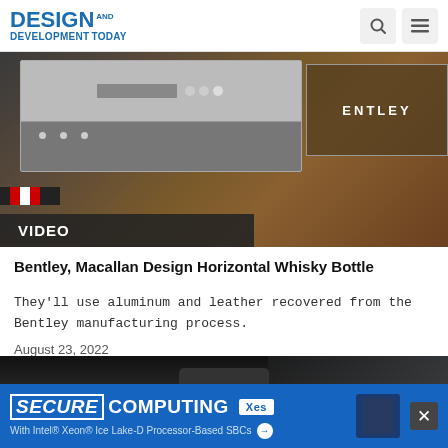DESIGN AND DEVELOPMENT TODAY
[Figure (photo): Video thumbnail showing Bentley car interior screen with Macallan whisky branding and a wooden barrel, labeled VIDEO]
Bentley, Macallan Design Horizontal Whisky Bottle
They'll use aluminum and leather recovered from the Bentley manufacturing process.
August 23, 2022
[Figure (photo): Interior view from inside a car looking out through the windshield, with a rearview mirror visible]
[Figure (infographic): Advertisement banner: SECURE COMPUTING with Intel Xeon Ice Lake-D Processor-Based SBCs, XES brand logo]